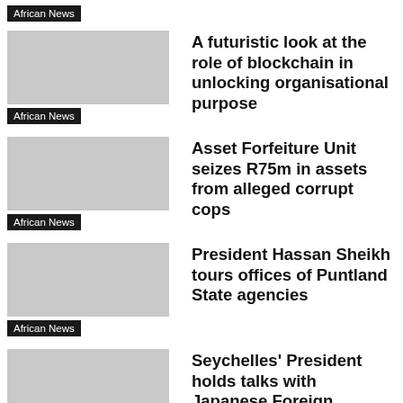African News
A futuristic look at the role of blockchain in unlocking organisational purpose
African News
Asset Forfeiture Unit seizes R75m in assets from alleged corrupt cops
African News
President Hassan Sheikh tours offices of Puntland State agencies
African News
Seychelles' President holds talks with Japanese Foreign Minister at TICAD 8
African News
Nature Seychelles goes high-tech